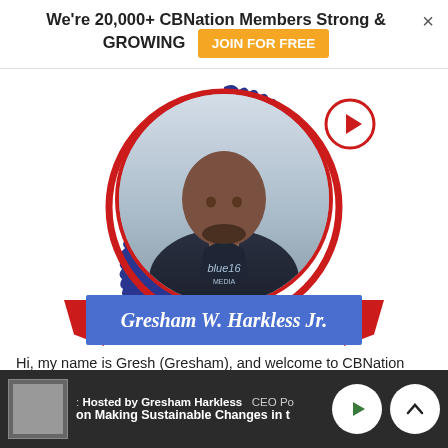We're 20,000+ CBNation Members Strong & GROWING
JOIN FOR FREE
[Figure (photo): Profile photo of Gresham W. Harkless Jr. in a dark polo shirt with Blue 16 Media logo, displayed in a circular badge with dark blue scalloped border, red accent ribbons, and blue name banner. A play button icon appears in the top right.]
Gresham W. Harkless Jr.
Hi, my name is Gresh (Gresham), and welcome to CBNation powered by Blue 16 Media (Web Design & SEO). We are a B2B brand that is exists to
Hosted by Gresham Harkless  CEO Po  on Making Sustainable Changes in t